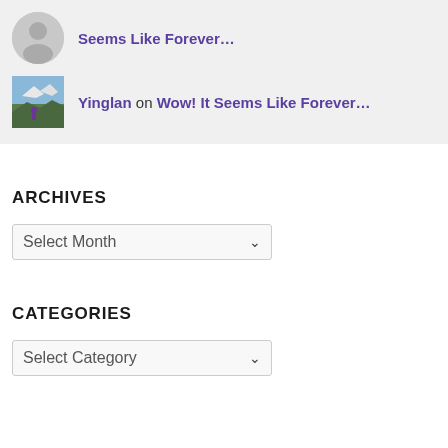Seems Like Forever…
Yinglan on Wow! It Seems Like Forever…
ARCHIVES
Select Month
CATEGORIES
Select Category